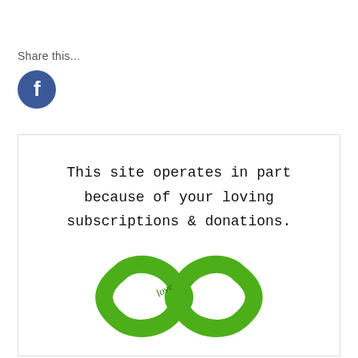Share this...
[Figure (logo): Facebook circular icon with white 'f' on blue background]
[Figure (illustration): White bordered box containing text 'This site operates in part because of your loving subscriptions & donations.' with a green infinity symbol / lemniscate logo below the text, with the word 'love' written in script across the center crossing point]